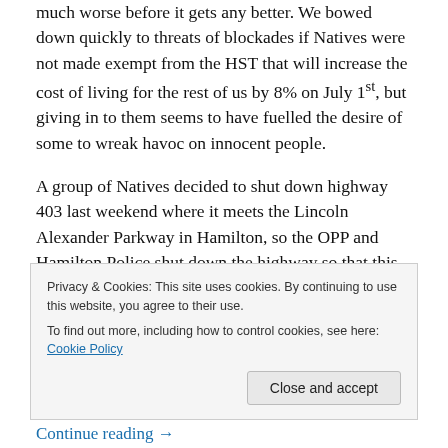much worse before it gets any better. We bowed down quickly to threats of blockades if Natives were not made exempt from the HST that will increase the cost of living for the rest of us by 8% on July 1st, but giving in to them seems to have fuelled the desire of some to wreak havoc on innocent people.
A group of Natives decided to shut down highway 403 last weekend where it meets the Lincoln Alexander Parkway in Hamilton, so the OPP and Hamilton Police shut down the highway so that this little group of malcontents could “march peacefully” on a major highway. Never mind the
Privacy & Cookies: This site uses cookies. By continuing to use this website, you agree to their use.
To find out more, including how to control cookies, see here: Cookie Policy
Close and accept
Continue reading →